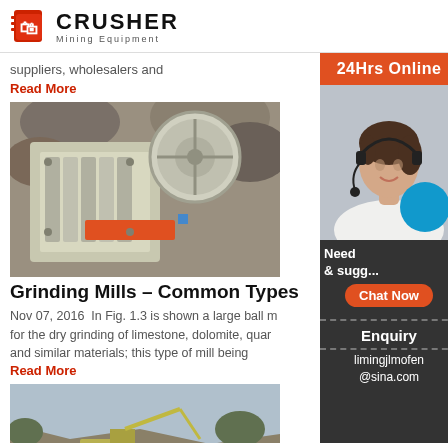CRUSHER Mining Equipment
suppliers, wholesalers and
Read More
[Figure (photo): Jaw crusher machine photographed outdoors against rocks]
Grinding Mills – Common Types
Nov 07, 2016  In Fig. 1.3 is shown a large ball m for the dry grinding of limestone, dolomite, quar and similar materials; this type of mill being
Read More
[Figure (photo): Quarry excavation machinery working in open pit mine]
[Figure (photo): Customer service representative with headset - 24Hrs Online sidebar advertisement with chat and enquiry options]